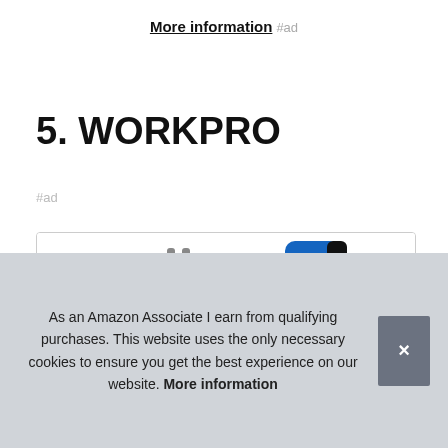More information #ad
5. WORKPRO
#ad
[Figure (photo): Product image of WORKPRO tools partially visible in a bordered card, showing metallic tool handles on the left and a blue/black tool on the right, with a colorful red-white-blue strip at the bottom.]
As an Amazon Associate I earn from qualifying purchases. This website uses the only necessary cookies to ensure you get the best experience on our website. More information